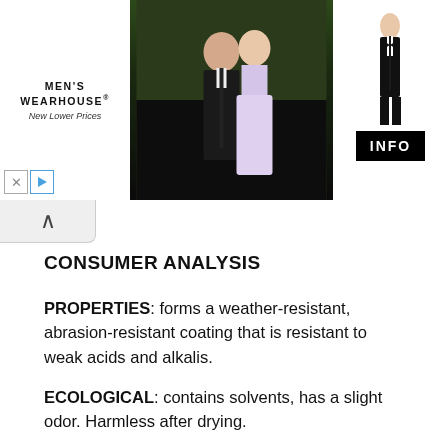[Figure (photo): Men's Wearhouse advertisement banner showing a couple in formal wear (man in dark suit with tie, woman in formal dress), a silhouette of a man in tuxedo, and an INFO button on black/white background. Brand tagline 'New Lower Prices' visible.]
CONSUMER ANALYSIS
PROPERTIES: forms a weather-resistant, abrasion-resistant coating that is resistant to weak acids and alkalis.
ECOLOGICAL: contains solvents, has a slight odor. Harmless after drying.
APPLICATION: the substrate must be clean, sound and dry. Resin-rich wood must be washed with a nitro thinner. If there are residues of old coatings on the surface, they must be removed, after which the surface must be sanded